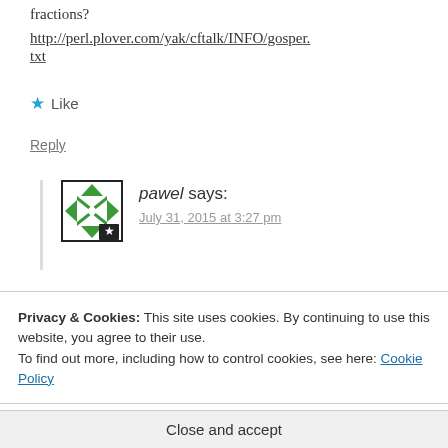fractions?
http://perl.plover.com/yak/cftalk/INFO/gosper.txt
★ Like
Reply
pawel says:
July 31, 2015 at 3:27 pm
Privacy & Cookies: This site uses cookies. By continuing to use this website, you agree to their use.
To find out more, including how to control cookies, see here: Cookie Policy
Close and accept